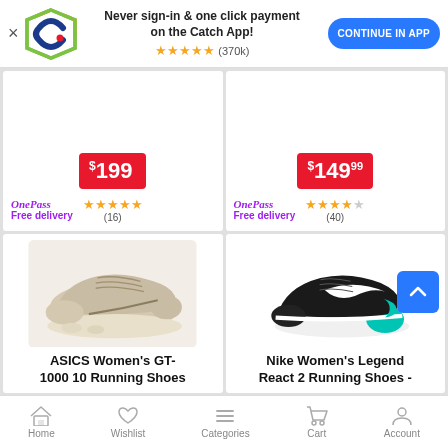[Figure (screenshot): App promotion banner with Catch logo, text 'Never sign-in & one click payment on the Catch App!', star rating 5 stars (370k), and 'CONTINUE IN APP' button]
[Figure (screenshot): Partial product card showing price $199 in red badge, OnePass Free delivery label, 4.5 stars with (16) reviews]
[Figure (screenshot): Partial product card showing price $149.99 in red badge, OnePass Free delivery label, 4 stars with (40) reviews]
[Figure (photo): ASICS Women's GT-1000 10 Running Shoes in beige/cream color, shown from side profile]
ASICS Women's GT-1000 10 Running Shoes
[Figure (photo): Nike Women's Legend React 2 Running Shoes in black/teal color, shown from side profile]
Nike Women's Legend React 2 Running Shoes -
Home  Wishlist  Categories  Cart  Account